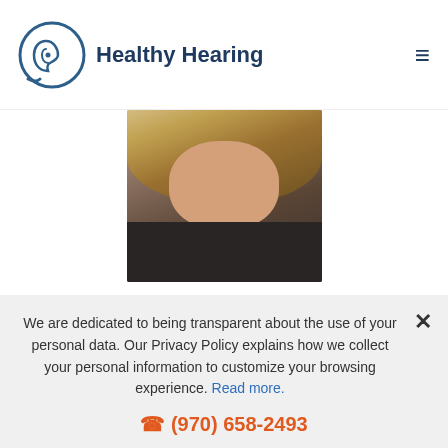Healthy Hearing
[Figure (photo): Portrait photo of Cheryl Hadlock, a woman with blonde hair wearing a dark top]
Cheryl Hadlock, AuD
Audiologist
Licensed Doctor of Audiology Cheryl Hadlock has been a
We are dedicated to being transparent about the use of your personal data. Our Privacy Policy explains how we collect your personal information to customize your browsing experience. Read more.
(970) 658-2493